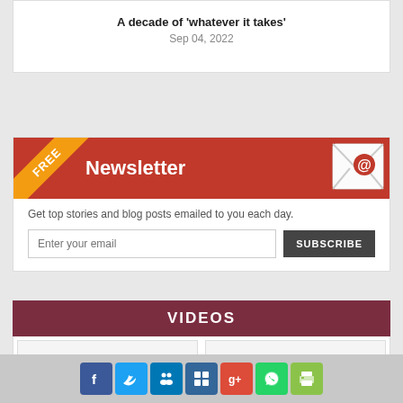A decade of ‘whatever it takes’
Sep 04, 2022
[Figure (infographic): Newsletter signup widget with red header, FREE ribbon, envelope icon, email input and SUBSCRIBE button]
VIDEOS
[Figure (infographic): Social sharing icons: Facebook, Twitter, LinkedIn, Delicious, Google+, WhatsApp, Print]